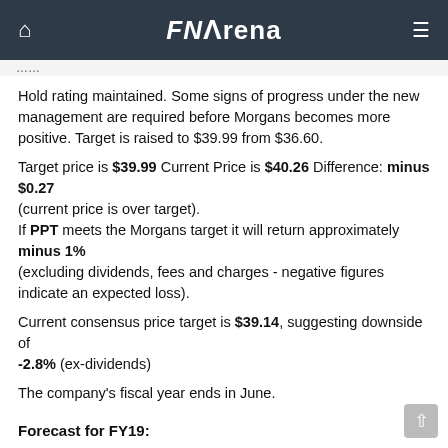FNArena
Hold rating maintained. Some signs of progress under the new management are required before Morgans becomes more positive. Target is raised to $39.99 from $36.60.
Target price is $39.99 Current Price is $40.26 Difference: minus $0.27 (current price is over target).
If PPT meets the Morgans target it will return approximately minus 1% (excluding dividends, fees and charges - negative figures indicate an expected loss).
Current consensus price target is $39.14, suggesting downside of -2.8% (ex-dividends)
The company's fiscal year ends in June.
Forecast for FY19:
Morgans forecasts a full year FY19 dividend of 235.00 cents and EPS of 269.00 cents.
At the last closing share price the estimated dividend yield is 5.84%.
At the last closing share price the stock's estimated Price to Earnings Ratio (PER) is 14.97.